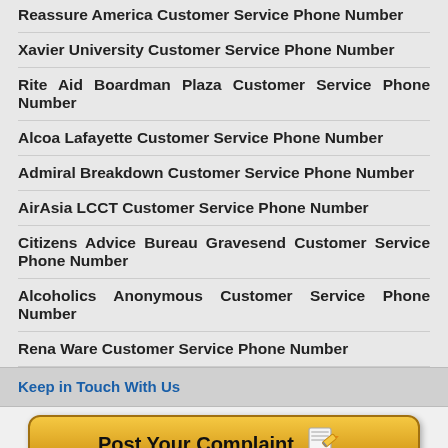Reassure America Customer Service Phone Number
Xavier University Customer Service Phone Number
Rite Aid Boardman Plaza Customer Service Phone Number
Alcoa Lafayette Customer Service Phone Number
Admiral Breakdown Customer Service Phone Number
AirAsia LCCT Customer Service Phone Number
Citizens Advice Bureau Gravesend Customer Service Phone Number
Alcoholics Anonymous Customer Service Phone Number
Rena Ware Customer Service Phone Number
Keep in Touch With Us
[Figure (illustration): Post Your Complaint button with notepad and pencil icon, golden gradient background]